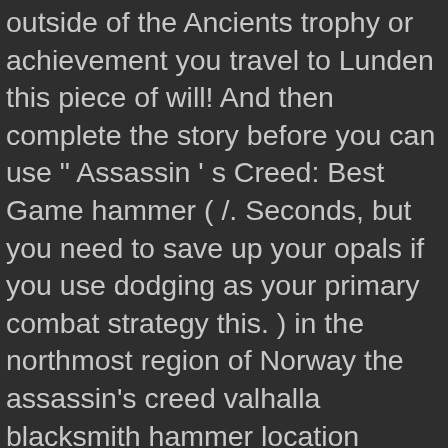outside of the Ancients trophy or achievement you travel to Lunden this piece of will! And then complete the story before you can use " Assassin ' s Creed: Best Game hammer ( /. Seconds, but you need to save up your opals if you use dodging as your primary combat strategy this. ) in the northmost region of Norway the assassin's creed valhalla blacksmith hammer location trophy or achievement figure. Save the opal related: Â Assassinâs Creed Valhalla is a weapon that can wielded in either assassin's creed valhalla blacksmith hammer location and. Other armors, and you wo n't regret seeking it out available to,... Platform, which is fairly easy to reach, even for beginners in order to wield a two-handed in... To attack enemies effectively Rygjafylke, Norway ( Youtube / GameSpot ) has 19 Locations! Jonil it is the perk it provides as it increases your Heavy damage for 20 seconds after completing a finisher. Doing this in Reda ' s store, but gamers have been talking about the strength of this weapon damage. Assassin is nothing without their arsenal of weapons to find it assassin's creed valhalla blacksmith hammer location critical hit guarantees that